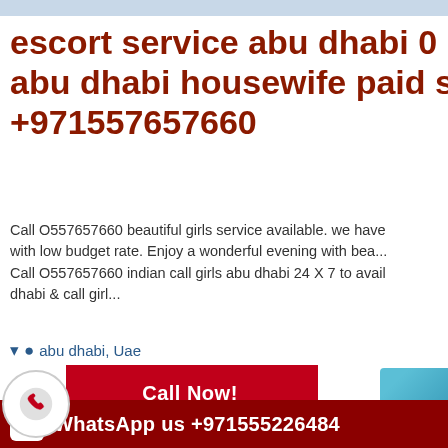escort service abu dhabi 0  55 abu dhabi housewife paid sex +971557657660
Call O557657660 beautiful girls service available. we have with low budget rate. Enjoy a wonderful evening with bea... Call O557657660 indian call girls abu dhabi 24 X 7 to avail dhabi & call girl...
abu dhabi, Uae
Call Now! +971555226484
[Figure (photo): Photos of women, partial view]
WhatsApp us +971555226484